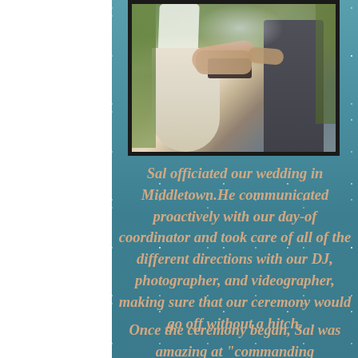[Figure (photo): Wedding ceremony photo showing a bride in a white dress and veil, groom in dark suit, and officiant holding a book, outdoors with greenery in background]
Sal officiated our wedding in Middletown.He communicated proactively with our day-of coordinator and took care of all of the different directions with our DJ, photographer, and videographer, making sure that our ceremony would go off without a hitch.
Once the ceremony began, Sal was amazing at "commanding the room" and the whole...